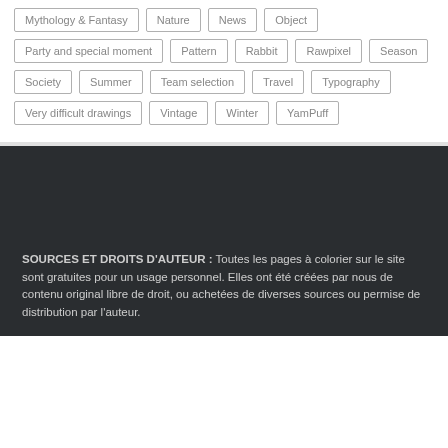Mythology & Fantasy
Nature
News
Object
Party and special moment
Pattern
Rabbit
Rawpixel
Season
Society
Summer
Team selection
Travel
Typography
Very difficult drawings
Vintage
Winter
YamPuff
SOURCES ET DROITS D'AUTEUR : Toutes les pages à colorier sur le site sont gratuites pour un usage personnel. Elles ont été créées par nous de contenu original libre de droit, ou achetées de diverses sources ou permise de distribution par l'auteur.